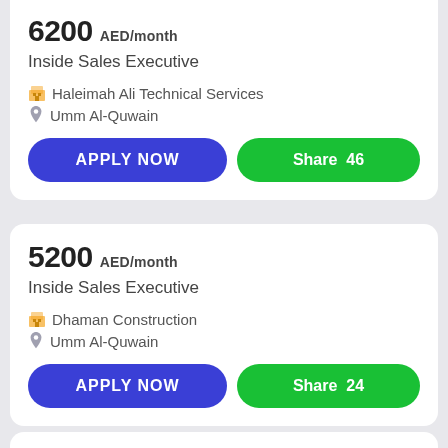6200 AED/month
Inside Sales Executive
Haleimah Ali Technical Services
Umm Al-Quwain
APPLY NOW
Share  46
5200 AED/month
Inside Sales Executive
Dhaman Construction
Umm Al-Quwain
APPLY NOW
Share  24